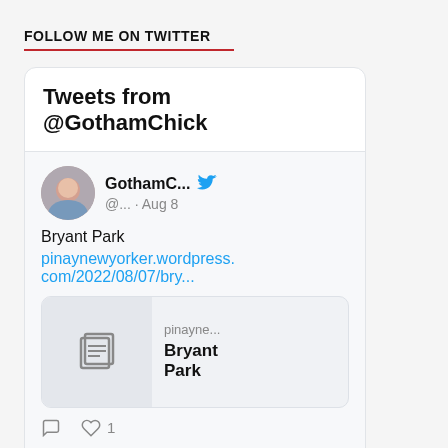FOLLOW ME ON TWITTER
[Figure (screenshot): Embedded Twitter/X widget showing tweets from @GothamChick. First tweet from GothamC... dated Aug 8 about Bryant Park with a link to pinaynewyorker.wordpress.com/2022/08/07/bry... and a link preview card showing pinayne... Bryant Park. Tweet has 1 like. A second tweet header is partially visible at the bottom.]